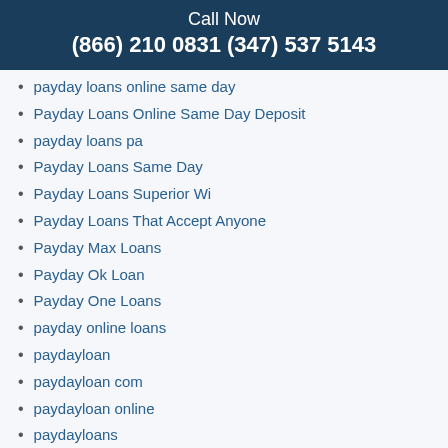Call Now
(866) 210 0831 (347) 537 5143
payday loans online same day
Payday Loans Online Same Day Deposit
payday loans pa
Payday Loans Same Day
Payday Loans Superior Wi
Payday Loans That Accept Anyone
Payday Max Loans
Payday Ok Loan
Payday One Loans
payday online loans
paydayloan
paydayloan com
paydayloan online
paydayloans
PeekShows Live Sex
PeekShows Live Web Cam Sex
Call Now
(866) 210 0831 (347) 537 5143